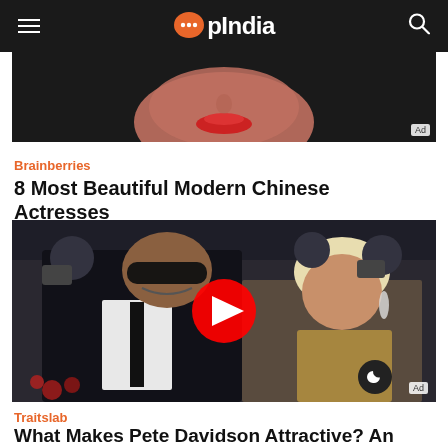OpIndia
[Figure (photo): Close-up partial face of a woman with red lipstick, advertisement image with 'Ad' label]
Brainberries
8 Most Beautiful Modern Chinese Actresses
[Figure (photo): Photo of two people at an event - a man in black suit with sunglasses smiling and a woman with platinum blonde hair, with YouTube play button overlay and 'Ad' label]
Traitslab
What Makes Pete Davidson Attractive? An Expert Explains